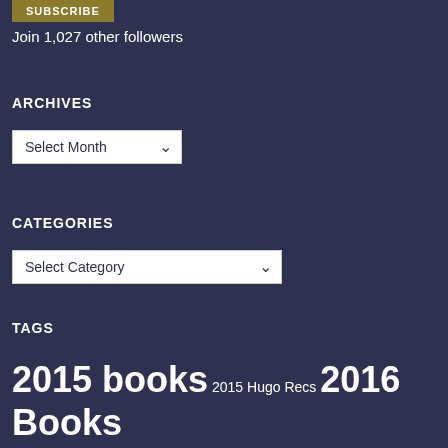[Figure (other): Subscribe button with dark gold/olive background and white bold text]
Join 1,027 other followers
ARCHIVES
[Figure (other): Dropdown selector showing 'Select Month' with chevron arrow]
CATEGORIES
[Figure (other): Dropdown selector showing 'Select Category' with chevron arrow]
TAGS
2015 books 2015 Hugo Recs 2016 Books 2017 Books 2018 Books ARC Ash vs. Evil Dead